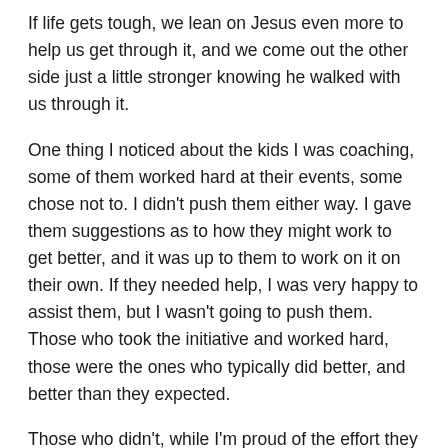If life gets tough, we lean on Jesus even more to help us get through it, and we come out the other side just a little stronger knowing he walked with us through it.
One thing I noticed about the kids I was coaching, some of them worked hard at their events, some chose not to. I didn't push them either way. I gave them suggestions as to how they might work to get better, and it was up to them to work on it on their own. If they needed help, I was very happy to assist them, but I wasn't going to push them. Those who took the initiative and worked hard, those were the ones who typically did better, and better than they expected.
Those who didn't, while I'm proud of the effort they put in on the track and how they represented their school, I wonder how much more they might have accomplished if they applied themselves a bit more.